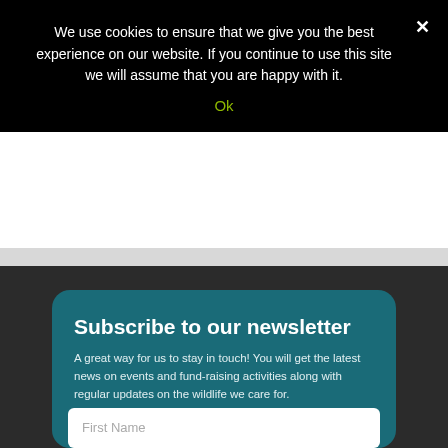We use cookies to ensure that we give you the best experience on our website. If you continue to use this site we will assume that you are happy with it.
Ok
Subscribe to our newsletter
A great way for us to stay in touch! You will get the latest news on events and fund-raising activities along with regular updates on the wildlife we care for.
First Name